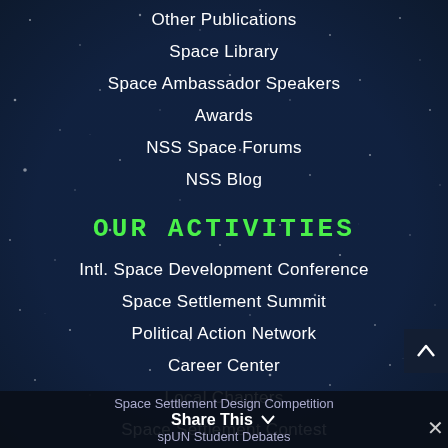Other Publications
Space Library
Space Ambassador Speakers
Awards
NSS Space Forums
NSS Blog
OUR ACTIVITIES
Intl. Space Development Conference
Space Settlement Summit
Political Action Network
Career Center
Local Chapters
Space Settlement Contest
Space Settlement Design Competition
Share This
spUN Student Debates